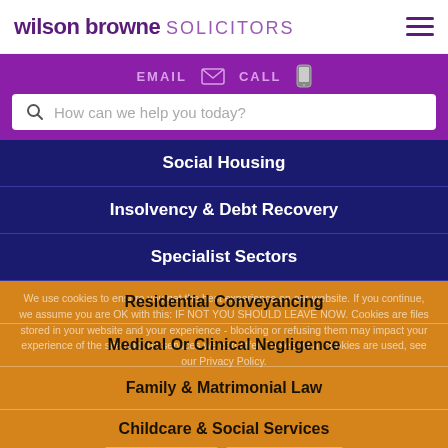wilson browne SOLICITORS
EMAIL  CALL
How can we help you today?
Social Housing
Insolvency & Debt Recovery
Specialist Sectors
We use cookies to ensure you get the best experience on our website. If you continue, we assume you are OK with this: IF NOT YOU SHOULD LEAVE NOW. Cookies are files stored in your website and your experience - blocking or refusing them may impact your experience of the site and the services we can offer. To see what cookies are used, see our Privacy Policy.
Residential Conveyancing
Medical Or Clinical Negligence
Family & Matrimonial Law
Childcare & Social Services
That's fine    Privacy policy
Wills, Trusts and Probate